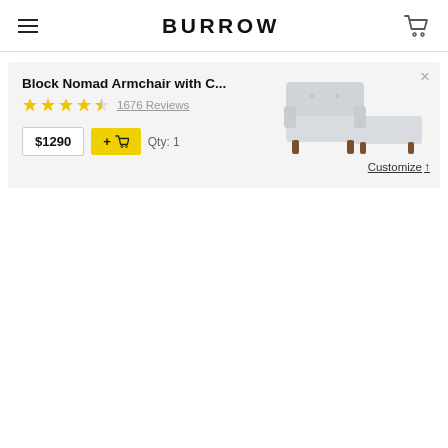BURROW
Block Nomad Armchair with C...
★★★★½  1676 Reviews
$1290  + Add to Cart  Qty: 1
[Figure (photo): Product photo of a light grey mid-century modern armchair with ottoman and walnut legs]
Customize ↑